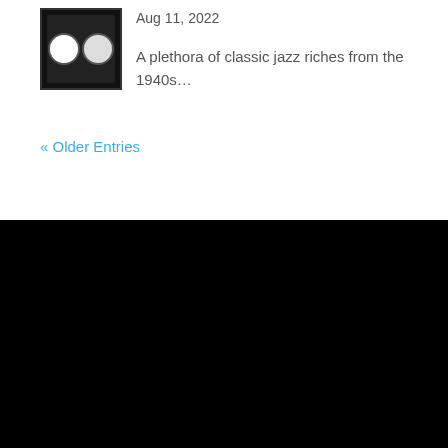[Figure (photo): Thumbnail image of a vinyl record label, black background with two circular record labels visible]
Aug 11, 2022
A plethora of classic jazz riches from the 1940s...
« Older Entries
[Figure (photo): Black footer section]